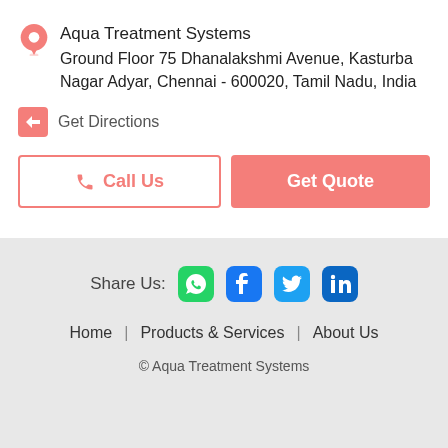Aqua Treatment Systems
Ground Floor 75 Dhanalakshmi Avenue, Kasturba Nagar Adyar, Chennai - 600020, Tamil Nadu, India
Get Directions
Call Us
Get Quote
Share Us:
Home | Products & Services | About Us
© Aqua Treatment Systems